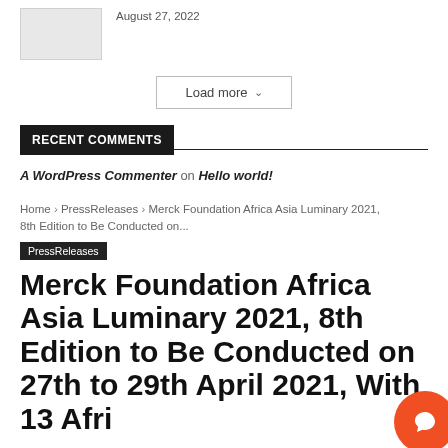[Figure (photo): Small thumbnail image placeholder, light gray background]
August 27, 2022
Load more ∨
RECENT COMMENTS
A WordPress Commenter on Hello world!
Home › PressReleases › Merck Foundation Africa Asia Luminary 2021, 8th Edition to Be Conducted on...
PressReleases
Merck Foundation Africa Asia Luminary 2021, 8th Edition to Be Conducted on 27th to 29th April 2021, With 13 Afri...